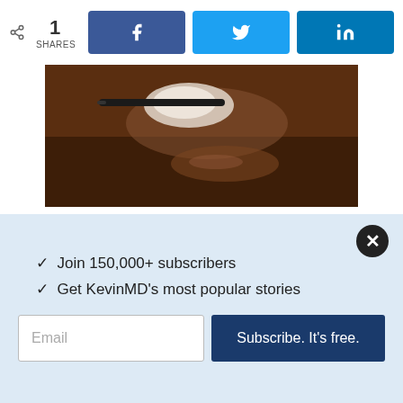1 SHARES | Facebook | Twitter | LinkedIn
[Figure (photo): Close-up photo of a hand holding a medical/dental instrument on a dark wooden surface]
Student advocacy through the Student Osteopathic Medical Association (SOMA)
SCOTT LANDMAN
[Figure (photo): Blurred photo of medical equipment including what appears to be a stethoscope or tubing]
✓  Join 150,000+ subscribers
✓  Get KevinMD's most popular stories
Email  |  Subscribe. It's free.